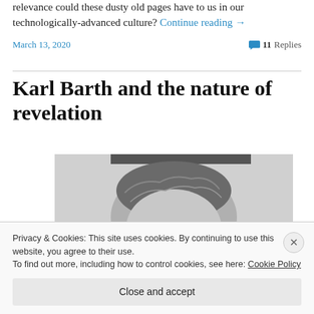relevance could these dusty old pages have to us in our technologically-advanced culture? Continue reading →
March 13, 2020   11 Replies
Karl Barth and the nature of revelation
[Figure (photo): Black and white photograph of a person, showing the top of their head and hair]
Privacy & Cookies: This site uses cookies. By continuing to use this website, you agree to their use. To find out more, including how to control cookies, see here: Cookie Policy